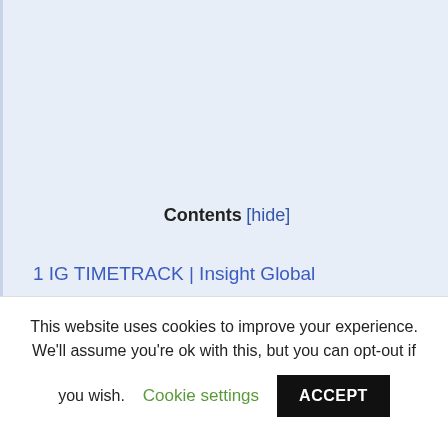Contents [hide]
1 IG TIMETRACK | Insight Global
2 Employee Insight – Insight Global
This website uses cookies to improve your experience. We'll assume you're ok with this, but you can opt-out if you wish. Cookie settings ACCEPT